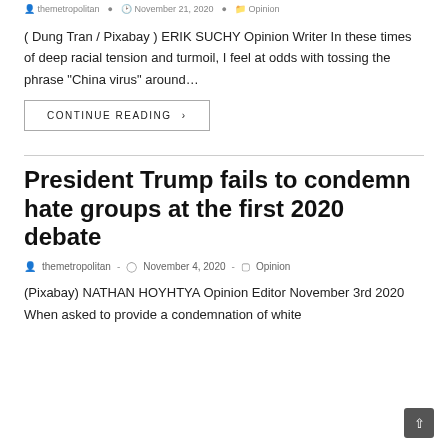themetropolitan · November 21, 2020 · Opinion
( Dung Tran / Pixabay ) ERIK SUCHY Opinion Writer In these times of deep racial tension and turmoil, I feel at odds with tossing the phrase "China virus" around…
CONTINUE READING ›
President Trump fails to condemn hate groups at the first 2020 debate
themetropolitan · November 4, 2020 · Opinion
(Pixabay) NATHAN HOYHTYA Opinion Editor November 3rd 2020 When asked to provide a condemnation of white